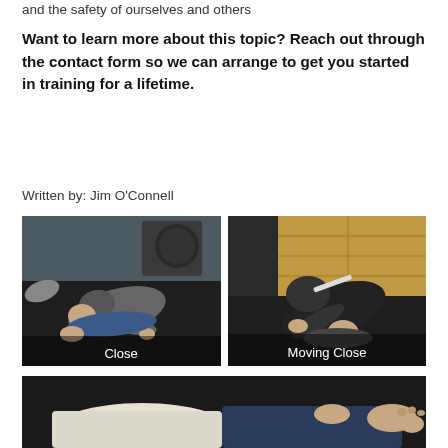and the safety of ourselves and others
Want to learn more about this topic? Reach out through the contact form so we can arrange to get you started in training for a lifetime.
Written by: Jim O’Connell
[Figure (photo): Two people practicing a martial arts ground technique on a dark mat in a gym. One person is on top of the other in a close grappling position. Caption reads: Close]
[Figure (photo): Two people practicing a martial arts ground technique on a dark mat, one person bending over the other in a moving close position. Caption reads: Moving Close]
[Figure (photo): Partial view of people lying on a dark mat, showing legs and feet during a martial arts training session.]